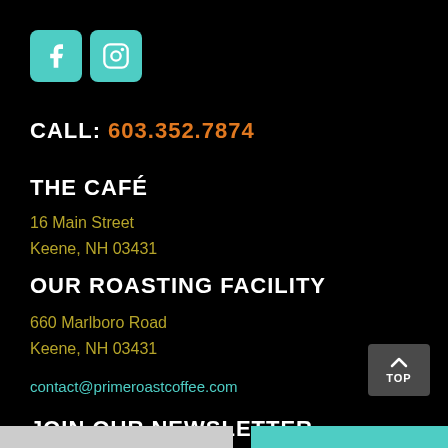[Figure (logo): Social media icons: Facebook and Instagram, teal/turquoise rounded square buttons]
CALL: 603.352.7874
THE CAFÉ
16 Main Street
Keene, NH 03431
OUR ROASTING FACILITY
660 Marlboro Road
Keene, NH 03431
contact@primeroastcoffee.com
JOIN OUR NEWSLETTER